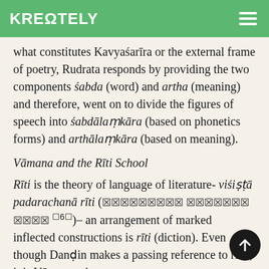KREΩTELY
what constitutes Kavyaśarīra or the external frame of poetry, Rudrata responds by providing the two components śabda (word) and artha (meaning) and therefore, went on to divide the figures of speech into śabdālaṃkāra (based on phonetics forms) and arthālaṃkāra (based on meaning).
Vāmana and the Rīti School
Rīti is the theory of language of literature- viśiṣṭā padarachanā rīti (🔲🔲🔲🔲🔲🔲🔲🔲🔲 🔲🔲🔲🔲🔲🔲🔲 🔲🔲🔲🔲 [6])– an arrangement of marked inflected constructions is rīti (diction). Even though Daṇḍin makes a passing reference to rītis, it is Vāmana who